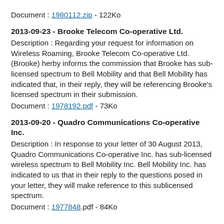Document : 1980112.zip - 122Ko
2013-09-23 - Brooke Telecom Co-operative Ltd.
Description : Regarding your request for information on Wireless Roaming, Brooke Telecom Co-operative Ltd. (Brooke) herby informs the commission that Brooke has sub-licensed spectrum to Bell Mobility and that Bell Mobility has indicated that, in their reply, they will be referencing Brooke’s licensed spectrum in their submission.
Document : 1978192.pdf - 73Ko
2013-09-20 - Quadro Communications Co-operative Inc.
Description : In response to your letter of 30 August 2013, Quadro Communications Co-operative Inc. has sub-licensed wireless spectrum to Bell Mobility Inc. Bell Mobility Inc. has indicated to us that in their reply to the questions posed in your letter, they will make reference to this sublicensed spectrum.
Document : 1977848.pdf - 84Ko